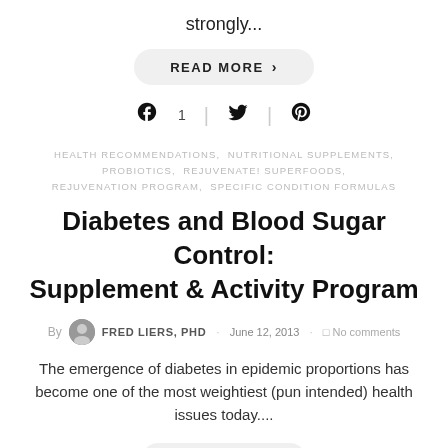strongly...
READ MORE >
Social share icons: Facebook 1, Twitter, Pinterest
HEALTH RECOMMENDATIONS,  NUTRITIONAL SUPPLEMENTS,  PROBIOTICS,  REJUVENATE! SUPERFOODS,  REJUVENATION PROGRAM,  SPECIFIC CONDITION FORMULAS
Diabetes and Blood Sugar Control: Supplement & Activity Program
By FRED LIERS, PHD · June 12, 2013 · No comments
The emergence of diabetes in epidemic proportions has become one of the most weightiest (pun intended) health issues today....
READ MORE >